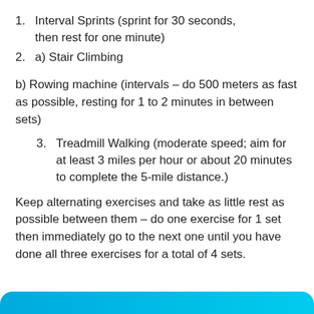1. Interval Sprints (sprint for 30 seconds, then rest for one minute)
2. a) Stair Climbing
b) Rowing machine (intervals – do 500 meters as fast as possible, resting for 1 to 2 minutes in between sets)
3. Treadmill Walking (moderate speed; aim for at least 3 miles per hour or about 20 minutes to complete the 5-mile distance.)
Keep alternating exercises and take as little rest as possible between them – do one exercise for 1 set then immediately go to the next one until you have done all three exercises for a total of 4 sets.